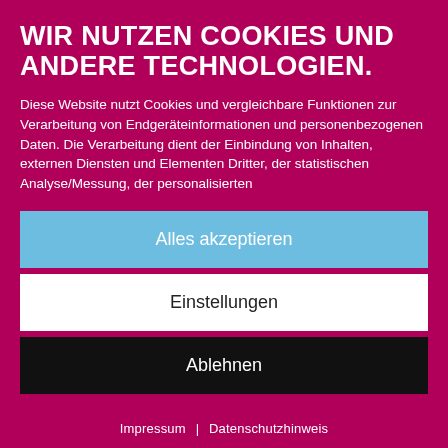WIR NUTZEN COOKIES UND ANDERE TECHNOLOGIEN.
Diese Website nutzt Cookies und vergleichbare Funktionen zur Verarbeitung von Endgeräteinformationen und personenbezogenen Daten. Die Verarbeitung dient der Einbindung von Inhalten, externen Diensten und Elementen Dritter, der statistischen Analyse/Messung, der personalisierten
Alles akzeptieren
Einstellungen
Ablehnen
Impressum | Datenschutzhinweis